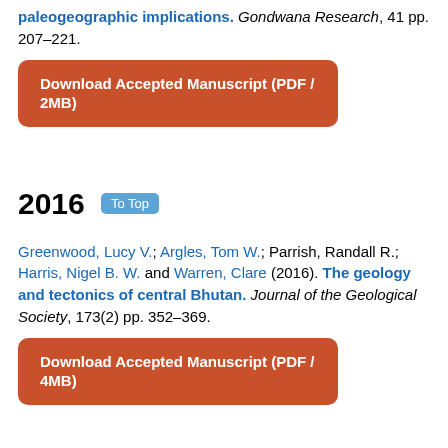paleogeographic implications. Gondwana Research, 41 pp. 207–221.
[Figure (other): Download button: Download Accepted Manuscript (PDF / 2MB)]
2016
Greenwood, Lucy V.; Argles, Tom W.; Parrish, Randall R.; Harris, Nigel B. W. and Warren, Clare (2016). The geology and tectonics of central Bhutan. Journal of the Geological Society, 173(2) pp. 352–369.
[Figure (other): Download button: Download Accepted Manuscript (PDF / 4MB)]